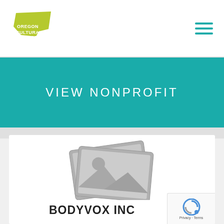Oregon Cultural Trust
VIEW NONPROFIT
[Figure (photo): Placeholder image icon showing stacked photo frames with a mountain landscape silhouette and sun, rendered in gray]
BODYVOX INC